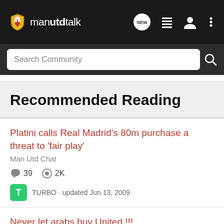[Figure (logo): manutdtalk logo with Manchester United shield icon on dark navbar]
Search Community
Recommended Reading
Platini calls Real Madrid's £80m purchase a threat to 'fair play'
Man Utd Chat
39  2K
TURBO · updated Jun 13, 2009
Never let arabs buy United !!!
Man Utd Chat